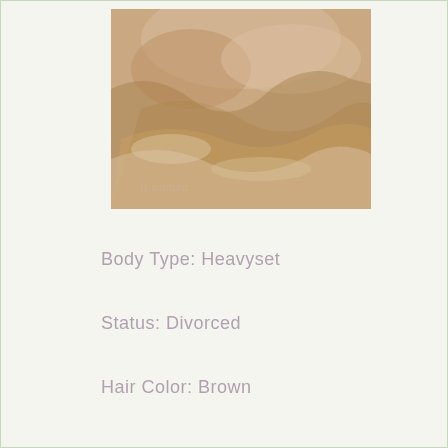[Figure (photo): Close-up photo of a person with water or wet texture visible, watermark text 'jt women' at bottom left of image]
Body Type: Heavyset
Status: Divorced
Hair Color: Brown